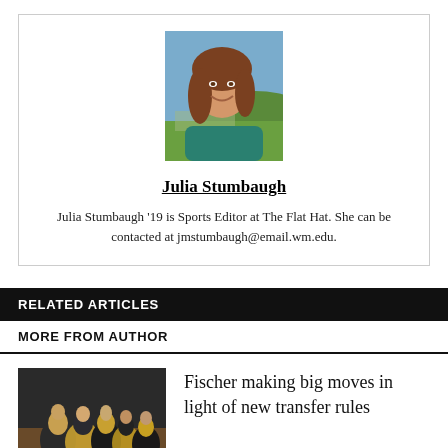[Figure (photo): Headshot of Julia Stumbaugh, a young woman with long brown hair, smiling outdoors with green hills in background]
Julia Stumbaugh
Julia Stumbaugh '19 is Sports Editor at The Flat Hat. She can be contacted at jmstumbaugh@email.wm.edu.
RELATED ARTICLES
MORE FROM AUTHOR
[Figure (photo): Basketball players huddled together on a court, wearing dark and gold uniforms]
Fischer making big moves in light of new transfer rules